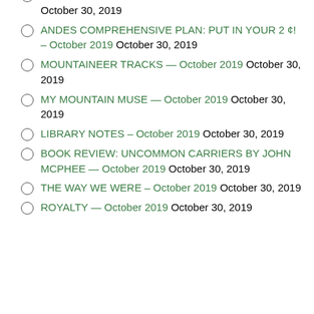DON LANZIERO: A LOCAL HERO — October 2019 October 30, 2019
ANDES COMPREHENSIVE PLAN: PUT IN YOUR 2 ¢! – October 2019 October 30, 2019
MOUNTAINEER TRACKS — October 2019 October 30, 2019
MY MOUNTAIN MUSE — October 2019 October 30, 2019
LIBRARY NOTES – October 2019 October 30, 2019
BOOK REVIEW: UNCOMMON CARRIERS BY JOHN MCPHEE — October 2019 October 30, 2019
THE WAY WE WERE – October 2019 October 30, 2019
ROYALTY — October 2019 October 30, 2019